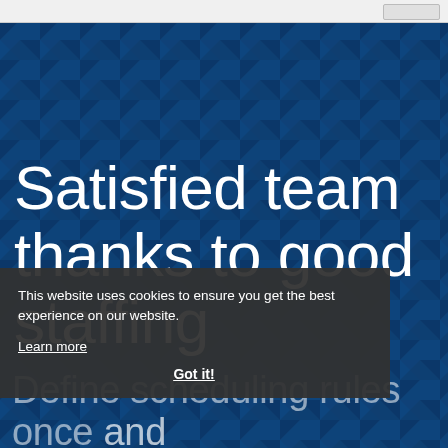Satisfied team thanks to good staffing
This website uses cookies to ensure you get the best experience on our website.
Learn more
Got it!
Define scheduling rules once and effortlessly create rosters with